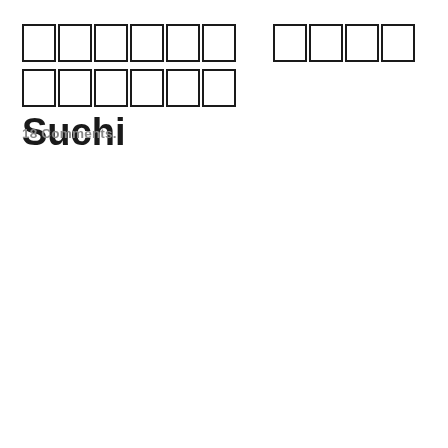□□□□□□ □□□□□□□□□□ Suchi
18 Comments.